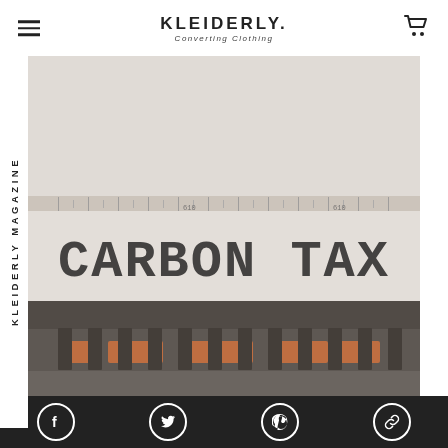KLEIDERLY. Converting Clothing
[Figure (illustration): Vertical rotated text reading 'KLEIDERLY MAGAZINE' along the left side of the image section]
[Figure (photo): Close-up photo of a typewriter with paper showing 'CARBON TAX' typed in large letters. The typewriter mechanism is visible below the paper with orange/red colored accents visible.]
Social icons: Facebook, Twitter, Pinterest, Link